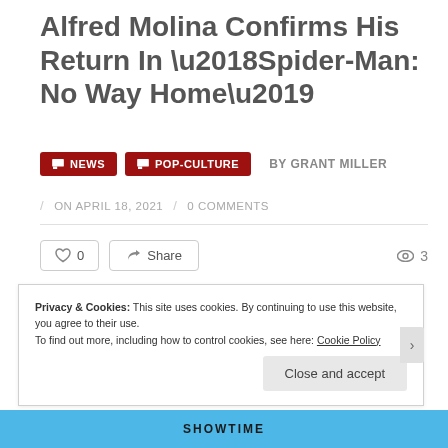Alfred Molina Confirms His Return In ‘Spider-Man: No Way Home’
NEWS  POP-CULTURE  BY GRANT MILLER
ON APRIL 18, 2021  /  0 COMMENTS
0  Share  3
After months of speculation, fans finally have confirmation that Alfred Molina will be returning as Doctor Otto Octavius.
Privacy & Cookies: This site uses cookies. By continuing to use this website, you agree to their use.
To find out more, including how to control cookies, see here: Cookie Policy
Close and accept